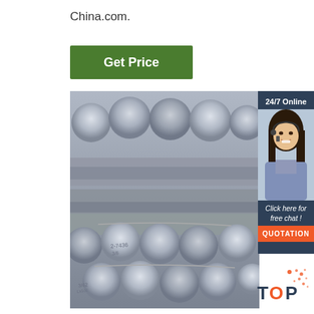China.com.
[Figure (other): Green 'Get Price' button]
[Figure (photo): Stack of steel/aluminium round rods or bars bundled with wire, viewed from the end, showing circular cross-sections]
[Figure (infographic): Dark blue sidebar widget: '24/7 Online' header, photo of smiling woman with headset, 'Click here for free chat!' text, and orange QUOTATION button]
[Figure (logo): TOP badge logo with orange dots decoration in bottom right corner]